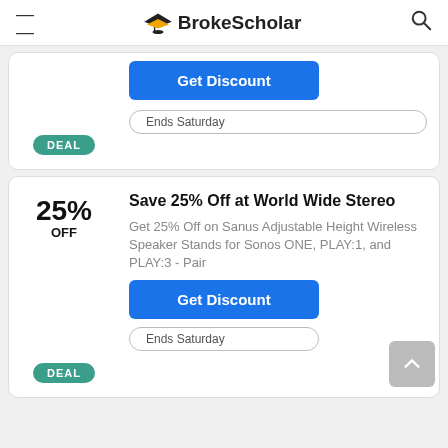BrokeScholar
Get Discount
Ends Saturday
DEAL
25% OFF
Save 25% Off at World Wide Stereo
Get 25% Off on Sanus Adjustable Height Wireless Speaker Stands for Sonos ONE, PLAY:1, and PLAY:3 - Pair
Get Discount
Ends Saturday
DEAL